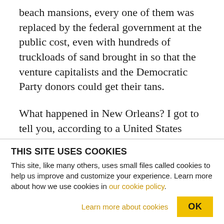beach mansions, every one of them was replaced by the federal government at the public cost, even with hundreds of truckloads of sand brought in so that the venture capitalists and the Democratic Party donors could get their tans.
What happened in New Orleans? I got to tell you, according to a United States federal court judgment, van Heerden was correct. There was something called the Mississippi River Gulf Outlet Canal which created, basically, a highway for the water surge from
THIS SITE USES COOKIES
This site, like many others, uses small files called cookies to help us improve and customize your experience. Learn more about how we use cookies in our cookie policy.
Learn more about cookies   OK